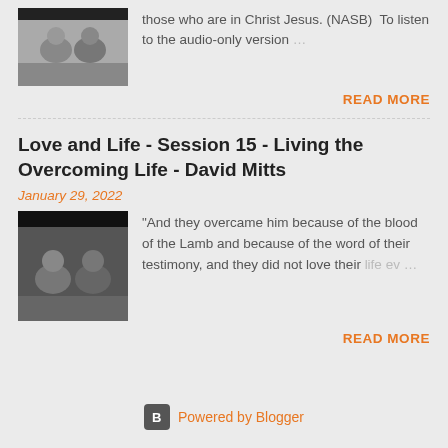[Figure (photo): Thumbnail screenshot of two people in a video]
those who are in Christ Jesus. (NASB)  To listen to the audio-only version …
READ MORE
Love and Life - Session 15 - Living the Overcoming Life - David Mitts
January 29, 2022
[Figure (photo): Thumbnail screenshot of two people in a video]
"And they overcame him because of the blood of the Lamb and because of the word of their testimony, and they did not love their life ev …
READ MORE
Powered by Blogger